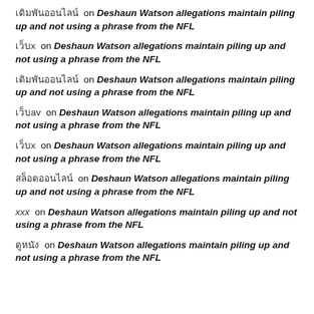เดิมพันออนไลน์  on  Deshaun Watson allegations maintain piling up and not using a phrase from the NFL
เว็บx  on  Deshaun Watson allegations maintain piling up and not using a phrase from the NFL
เดิมพันออนไลน์  on  Deshaun Watson allegations maintain piling up and not using a phrase from the NFL
เว็บav  on  Deshaun Watson allegations maintain piling up and not using a phrase from the NFL
เว็บx  on  Deshaun Watson allegations maintain piling up and not using a phrase from the NFL
สล็อตออนไลน์  on  Deshaun Watson allegations maintain piling up and not using a phrase from the NFL
xxx  on  Deshaun Watson allegations maintain piling up and not using a phrase from the NFL
ดูหนัง  on  Deshaun Watson allegations maintain piling up and not using a phrase from the NFL